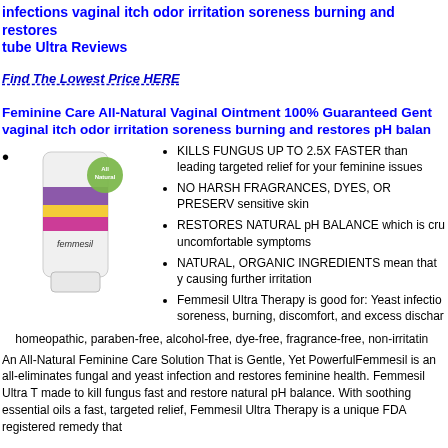infections vaginal itch odor irritation soreness burning and restores tube Ultra Reviews
Find The Lowest Price HERE
Feminine Care All-Natural Vaginal Ointment 100% Guaranteed Gentle vaginal itch odor irritation soreness burning and restores pH balance
[Figure (photo): Femmesil tube product with All Natural badge]
KILLS FUNGUS UP TO 2.5X FASTER than leading targeted relief for your feminine issues
NO HARSH FRAGRANCES, DYES, OR PRESERVATIVES sensitive skin
RESTORES NATURAL pH BALANCE which is crucial uncomfortable symptoms
NATURAL, ORGANIC INGREDIENTS mean that you causing further irritation
Femmesil Ultra Therapy is good for: Yeast infections soreness, burning, discomfort, and excess discharge
homeopathic, paraben-free, alcohol-free, dye-free, fragrance-free, non-irritating
An All-Natural Feminine Care Solution That is Gentle, Yet PowerfulFemmesil is an all-eliminates fungal and yeast infection and restores feminine health. Femmesil Ultra Therapy made to kill fungus fast and restore natural pH balance. With soothing essential oils and fast, targeted relief, Femmesil Ultra Therapy is a unique FDA registered remedy that